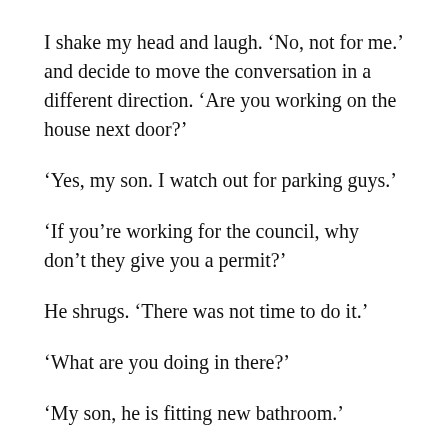I shake my head and laugh. ‘No, not for me.’ and decide to move the conversation in a different direction. ‘Are you working on the house next door?’
‘Yes, my son. I watch out for parking guys.’
‘If you’re working for the council, why don’t they give you a permit?’
He shrugs. ‘There was not time to do it.’
‘What are you doing in there?’
‘My son, he is fitting new bathroom.’